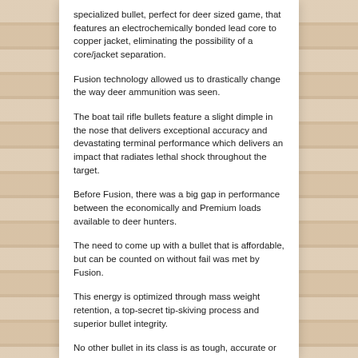specialized bullet, perfect for deer sized game, that features an electrochemically bonded lead core to copper jacket, eliminating the possibility of a core/jacket separation.
Fusion technology allowed us to drastically change the way deer ammunition was seen.
The boat tail rifle bullets feature a slight dimple in the nose that delivers exceptional accuracy and devastating terminal performance which delivers an impact that radiates lethal shock throughout the target.
Before Fusion, there was a big gap in performance between the economically and Premium loads available to deer hunters.
The need to come up with a bullet that is affordable, but can be counted on without fail was met by Fusion.
This energy is optimized through mass weight retention, a top-secret tip-skiving process and superior bullet integrity.
No other bullet in its class is as tough, accurate or lethal.
This ammunition is new production, non-